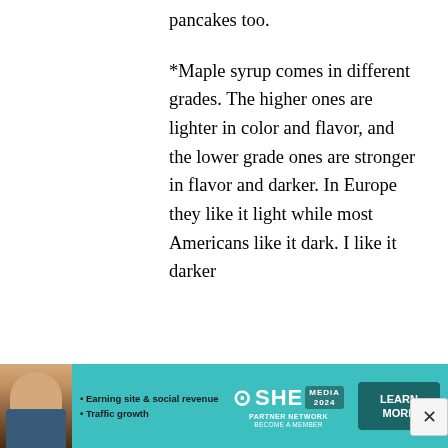pancakes too.
*Maple syrup comes in different grades. The higher ones are lighter in color and flavor, and the lower grade ones are stronger in flavor and darker. In Europe they like it light while most Americans like it dark. I like it darker
[Figure (infographic): Advertisement banner for SHE Media Partner Network with teal background. Shows a woman's photo on left, bullet points 'Earning site & social revenue' and 'Traffic growth', the SHE Media logo in center, and a dark teal 'LEARN MORE' button on right.]